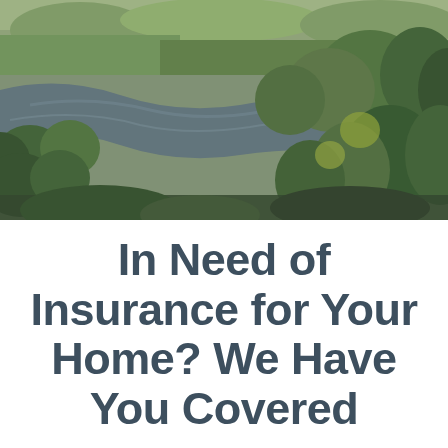[Figure (photo): Aerial view of a winding river with green trees and vegetation on both banks, lush countryside in the background under an overcast sky.]
In Need of Insurance for Your Home? We Have You Covered